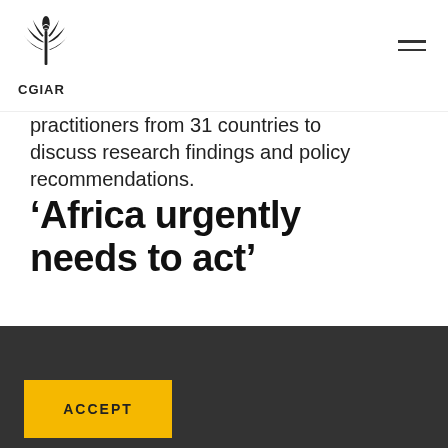CGIAR
practitioners from 31 countries to discuss research findings and policy recommendations.
'Africa urgently needs to act'
This website uses cookies in order to improve the use experience and provide additional functionality   Detail
ACCEPT